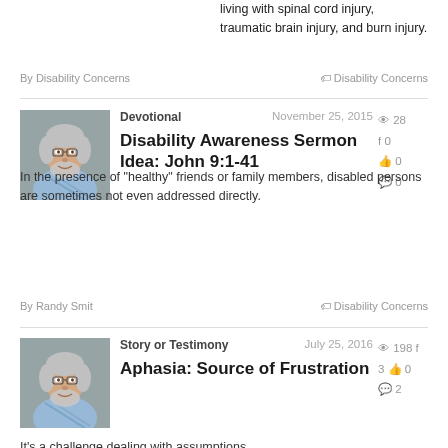living with spinal cord injury, traumatic brain injury, and burn injury.
By Disability Concerns
Disability Concerns
Devotional
November 25, 2015
Disability Awareness Sermon Idea: John 9:1-41
28 views, 0 Facebook shares, 0 likes, 0 comments
In the presence of "healthy" friends or family members, disabled persons are sometimes not even addressed directly.
By Randy Smit
Disability Concerns
Story or Testimony
July 25, 2016
Aphasia: Source of Frustration
198 views, 3 Facebook shares, 0 likes, 2 comments
It's a challenge dealing with assumptions